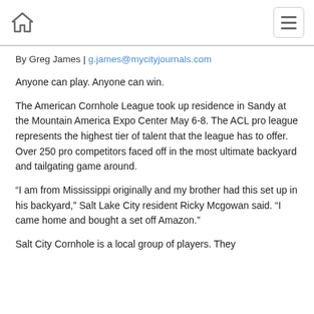home icon | menu icon
By Greg James | g.james@mycityjournals.com
Anyone can play. Anyone can win.
The American Cornhole League took up residence in Sandy at the Mountain America Expo Center May 6-8. The ACL pro league represents the highest tier of talent that the league has to offer. Over 250 pro competitors faced off in the most ultimate backyard and tailgating game around.
“I am from Mississippi originally and my brother had this set up in his backyard,” Salt Lake City resident Ricky Mcgowan said. “I came home and bought a set off Amazon.”
Salt City Cornhole is a local group of players. They